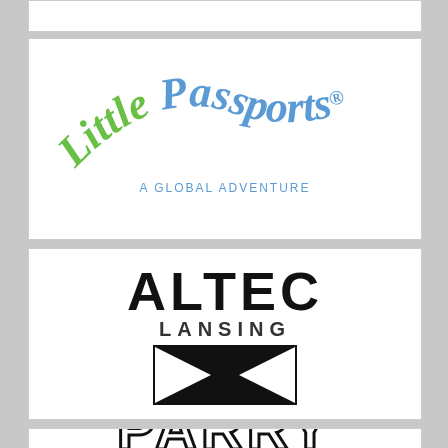[Figure (logo): Partial white card at top of page (cropped logo card)]
[Figure (logo): Little Passports logo — playful arched multi-colored lettering with 'Little Passports' in green and blue, subtitle 'A Global Adventure' in teal, registered trademark symbol]
[Figure (logo): Altec Lansing logo — bold black 'ALTEC' in large uppercase letters, 'LANSING' below in smaller uppercase, black rectangle with stylized bowtie/arrow graphic]
[Figure (logo): Partial logo visible at bottom of page, appears to show 'PARRY' in bubbly/graffiti lettering (cropped)]